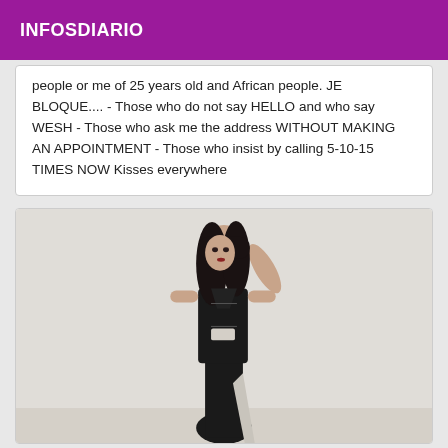INFOSDIARIO
people or me of 25 years old and African people. JE BLOQUE.... - Those who do not say HELLO and who say WESH - Those who ask me the address WITHOUT MAKING AN APPOINTMENT - Those who insist by calling 5-10-15 TIMES NOW Kisses everywhere
[Figure (photo): A young woman with long dark hair wearing a black form-fitting dress with cutouts, posing against a light-colored wall.]